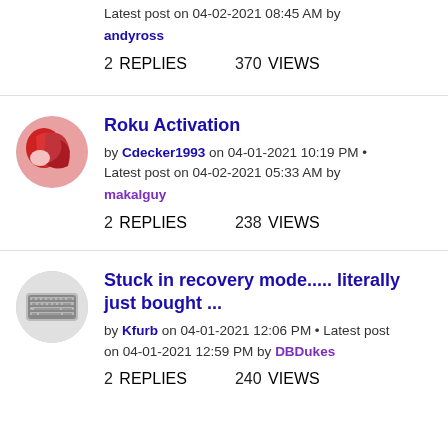Latest post on 04-02-2021 08:45 AM by andyross
2 REPLIES   370 VIEWS
Roku Activation
by Cdecker1993 on 04-01-2021 10:19 PM • Latest post on 04-02-2021 05:33 AM by makalguy
2 REPLIES   238 VIEWS
Stuck in recovery mode..... literally just bought ...
by Kfurb on 04-01-2021 12:06 PM • Latest post on 04-01-2021 12:59 PM by DBDukes
2 REPLIES   240 VIEWS